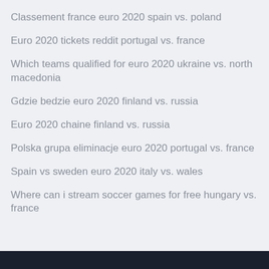Classement france euro 2020 spain vs. poland
Euro 2020 tickets reddit portugal vs. france
Which teams qualified for euro 2020 ukraine vs. north macedonia
Gdzie bedzie euro 2020 finland vs. russia
Euro 2020 chaine finland vs. russia
Polska grupa eliminacje euro 2020 portugal vs. france
Spain vs sweden euro 2020 italy vs. wales
Where can i stream soccer games for free hungary vs. france